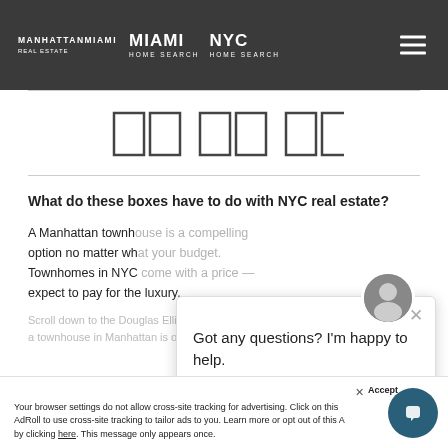MANHATTANMIAMI REAL ESTATE | MIAMI HOME SEARCH | NYC HOME SEARCH
[Figure (other): Six outlined rectangle boxes arranged in three pairs, representing non-rendered Unicode/CJK characters as a page title]
What do these boxes have to do with NYC real estate?
A Manhattan townhouse or townhome is an option no matter what your budget. Townhomes in NYC... expect to pay for the luxury.
[Figure (other): Chat popup overlay with avatar photo, close button, and text: Got any questions? I'm happy to help.]
Scroll down to the Douglas Elliman Townhouse... a townhouse in Manhattan is one of the prime...
Your browser settings do not allow cross-site tracking for advertising. Click on this AdRoll to use cross-site tracking to tailor ads to you. Learn more or opt out of this A by clicking here. This message only appears once.